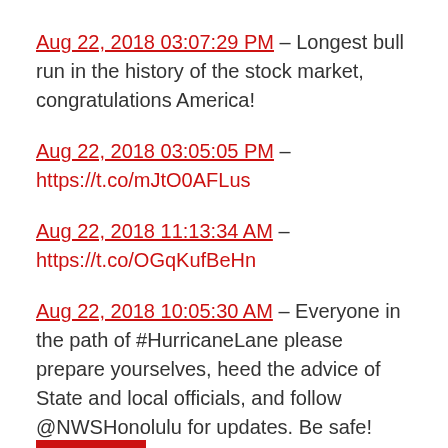Aug 22, 2018 03:07:29 PM – Longest bull run in the history of the stock market, congratulations America!
Aug 22, 2018 03:05:05 PM – https://t.co/mJtO0AFLus
Aug 22, 2018 11:13:34 AM – https://t.co/OGqKufBeHn
Aug 22, 2018 10:05:30 AM – Everyone in the path of #HurricaneLane please prepare yourselves, heed the advice of State and local officials, and follow @NWSHonolulu for updates. Be safe! https://t.co/kCwtL8UxNl